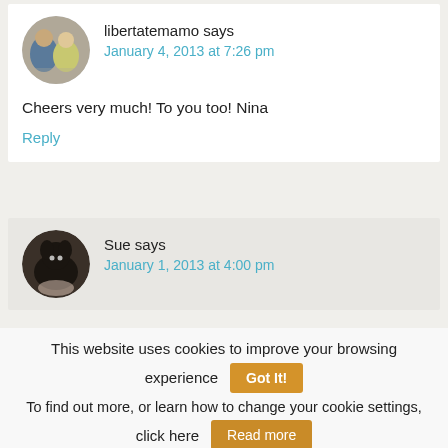libertatemamo says
January 4, 2013 at 7:26 pm
Cheers very much! To you too! Nina
Reply
Sue says
January 1, 2013 at 4:00 pm
This website uses cookies to improve your browsing experience
Got It!
To find out more, or learn how to change your cookie settings, click here
Read more